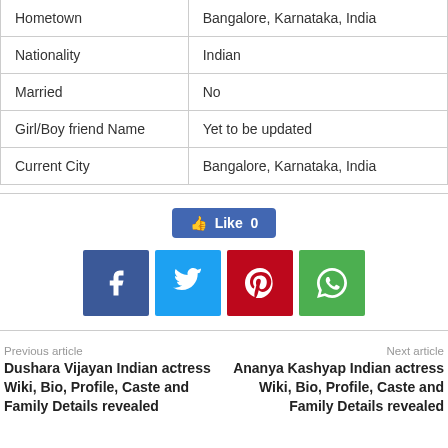| Hometown | Bangalore, Karnataka, India |
| Nationality | Indian |
| Married | No |
| Girl/Boy friend Name | Yet to be updated |
| Current City | Bangalore, Karnataka, India |
[Figure (infographic): Facebook Like button showing 'Like 0', and four social sharing buttons: Facebook (f), Twitter (bird), Pinterest (p), WhatsApp (phone icon)]
Previous article
Next article
Dushara Vijayan Indian actress Wiki, Bio, Profile, Caste and Family Details revealed
Ananya Kashyap Indian actress Wiki, Bio, Profile, Caste and Family Details revealed